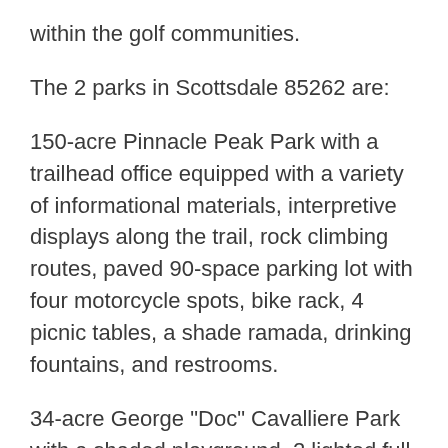within the golf communities.
The 2 parks in Scottsdale 85262 are:
150-acre Pinnacle Peak Park with a trailhead office equipped with a variety of informational materials, interpretive displays along the trail, rock climbing routes, paved 90-space parking lot with four motorcycle spots, bike rack, 4 picnic tables, a shade ramada, drinking fountains, and restrooms.
34-acre George "Doc" Cavalliere Park with a shaded playground, 2 lighted full basketball courts, 1-mile loop hiking trail, picnic areas, artificial open turf, wildflower viewing area, 2 drop-in ramadas, and restroom.